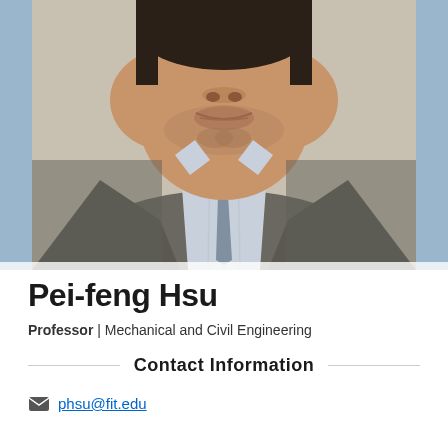[Figure (photo): Professional headshot of Pei-feng Hsu, a man in a grey/black checked blazer and light blue dress shirt, photographed from chest up against a light background.]
Pei-feng Hsu
Professor | Mechanical and Civil Engineering
Contact Information
phsu@fit.edu